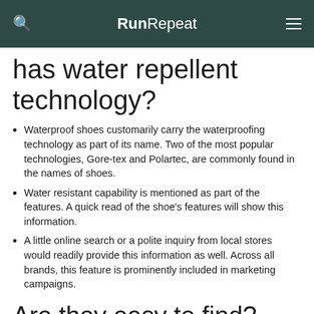RunRepeat
has water repellent technology?
Waterproof shoes customarily carry the waterproofing technology as part of its name. Two of the most popular technologies, Gore-tex and Polartec, are commonly found in the names of shoes.
Water resistant capability is mentioned as part of the features. A quick read of the shoe's features will show this information.
A little online search or a polite inquiry from local stores would readily provide this information as well. Across all brands, this feature is prominently included in marketing campaigns.
Are they easy to find?
Although they are not as abundant as waterproof